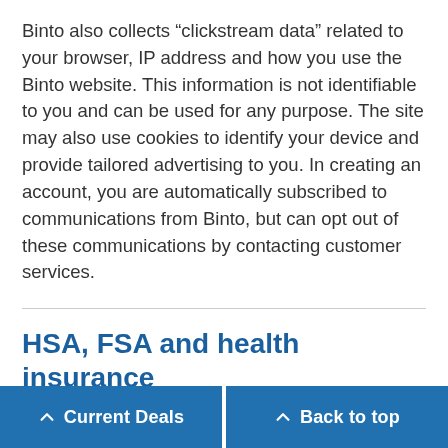Binto also collects “clickstream data” related to your browser, IP address and how you use the Binto website. This information is not identifiable to you and can be used for any purpose. The site may also use cookies to identify your device and provide tailored advertising to you. In creating an account, you are automatically subscribed to communications from Binto, but can opt out of these communications by contacting customer services.
HSA, FSA and health insurance
Binto’s products are not covered by Medicare or Medicaid, and it is specifically stated in the terms and [conditions that] are not allowed to [use FSA/HSA for] health plans. Mo[re...]